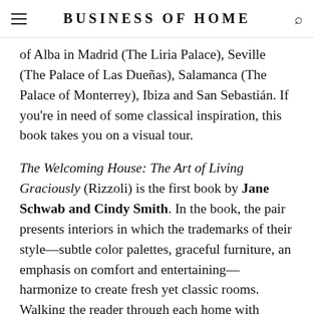BUSINESS OF HOME
of Alba in Madrid (The Liria Palace), Seville (The Palace of Las Dueñas), Salamanca (The Palace of Monterrey), Ibiza and San Sebastián. If you're in need of some classical inspiration, this book takes you on a visual tour.
The Welcoming House: The Art of Living Graciously (Rizzoli) is the first book by Jane Schwab and Cindy Smith. In the book, the pair presents interiors in which the trademarks of their style—subtle color palettes, graceful furniture, an emphasis on comfort and entertaining—harmonize to create fresh yet classic rooms. Walking the reader through each home with Southern charm, they share their vision and process, from big-picture topics such as room flow and furniture plans, to the importance of entryways and setting a beautiful table. Don't miss an